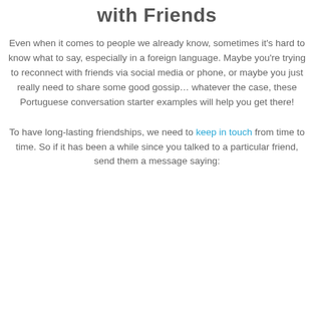with Friends
Even when it comes to people we already know, sometimes it's hard to know what to say, especially in a foreign language. Maybe you're trying to reconnect with friends via social media or phone, or maybe you just really need to share some good gossip… whatever the case, these Portuguese conversation starter examples will help you get there!
To have long-lasting friendships, we need to keep in touch from time to time. So if it has been a while since you talked to a particular friend, send them a message saying: